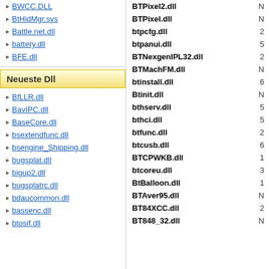BWCC.DLL
BtHidMgr.sys
Battle.net.dll
battery.dll
BFE.dll
Neueste Dll
BfLLR.dll
BavIPC.dll
BaseCore.dll
bsextendfunc.dll
bsengine_Shipping.dll
bugsplat.dll
bigup2.dll
bugsplatrc.dll
bdaucommon.dll
bassenc.dll
btosif.dll
BTPixel2.dll
BTPixel.dll
btpcfg.dll
btpanui.dll
BTNexgenIPL32.dll
BTMachFM.dll
btinstall.dll
Btinit.dll
bthserv.dll
bthci.dll
btfunc.dll
btcusb.dll
BTCPWKB.dll
btcoreu.dll
BtBalloon.dll
BTAver95.dll
BT84XCC.dll
BT848_32.dll